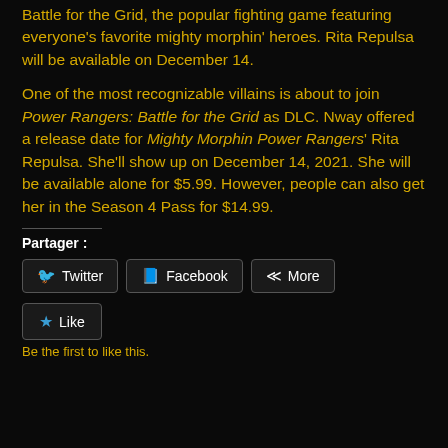Battle for the Grid, the popular fighting game featuring everyone's favorite mighty morphin' heroes. Rita Repulsa will be available on December 14.
One of the most recognizable villains is about to join Power Rangers: Battle for the Grid as DLC. Nway offered a release date for Mighty Morphin Power Rangers' Rita Repulsa. She'll show up on December 14, 2021. She will be available alone for $5.99. However, people can also get her in the Season 4 Pass for $14.99.
Partager :
Twitter | Facebook | More
Like
Be the first to like this.